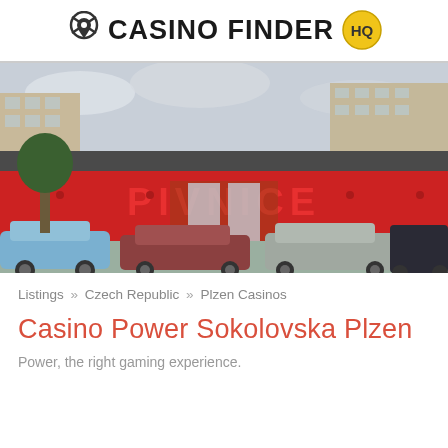CASINO FINDER HQ
[Figure (photo): Street-level photo of a red building with 'PIVNICE' signage, cars parked in front, apartment blocks visible in background.]
Listings » Czech Republic » Plzen Casinos
Casino Power Sokolovska Plzen
Power, the right gaming experience.